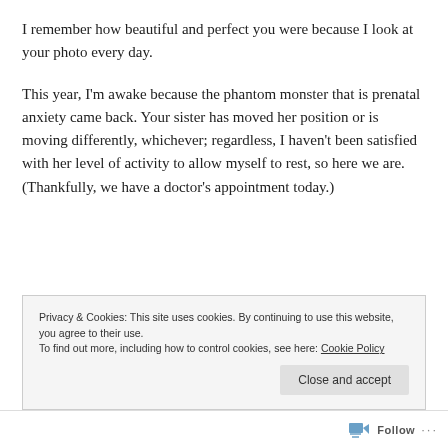I remember how beautiful and perfect you were because I look at your photo every day.
This year, I'm awake because the phantom monster that is prenatal anxiety came back. Your sister has moved her position or is moving differently, whichever; regardless, I haven't been satisfied with her level of activity to allow myself to rest, so here we are. (Thankfully, we have a doctor's appointment today.)
Privacy & Cookies: This site uses cookies. By continuing to use this website, you agree to their use. To find out more, including how to control cookies, see here: Cookie Policy
Follow ···